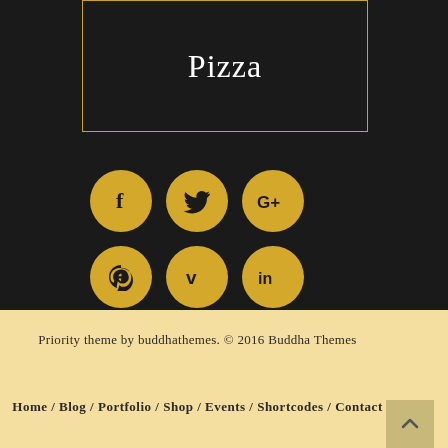Pizza
[Figure (infographic): Six social media icon circles in gold/yellow on dark background: Facebook (f), Twitter (bird), Google+ (G+), Pinterest (pin), Vimeo (v), LinkedIn (in)]
Priority theme by buddhathemes. © 2016 Buddha Themes
Home / Blog / Portfolio / Shop / Events / Shortcodes / Contact